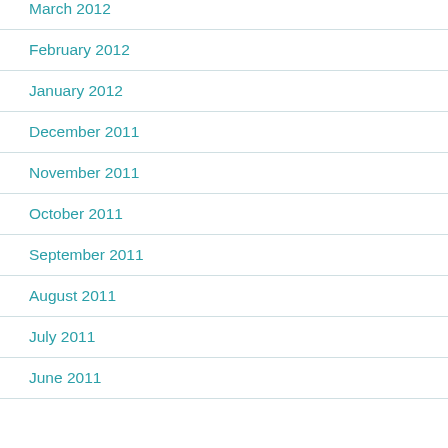March 2012
February 2012
January 2012
December 2011
November 2011
October 2011
September 2011
August 2011
July 2011
June 2011